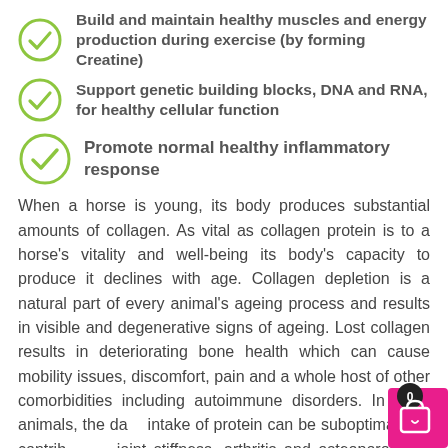Build and maintain healthy muscles and energy production during exercise (by forming Creatine)
Support genetic building blocks, DNA and RNA, for healthy cellular function
Promote normal healthy inflammatory response
When a horse is young, its body produces substantial amounts of collagen. As vital as collagen protein is to a horse's vitality and well-being its body's capacity to produce it declines with age. Collagen depletion is a natural part of every animal's ageing process and results in visible and degenerative signs of ageing. Lost collagen results in deteriorating bone health which can cause mobility issues, discomfort, pain and a whole host of other comorbidities including autoimmune disorders. In older animals, the daily intake of protein can be suboptimal and contribute to joint stiffness, arthritis and osteoporosis, a condition where bone mineral density is low. Low bone mi...